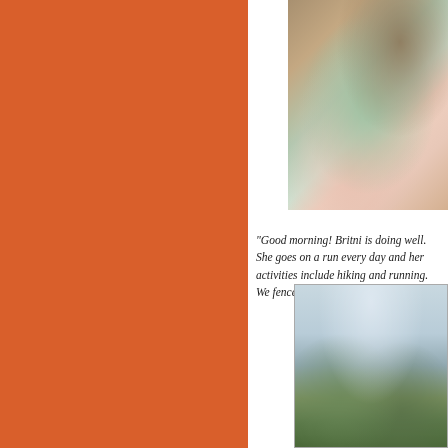[Figure (photo): Orange/rust colored rectangular panel occupying the left side of the page]
[Figure (photo): Photo of a person (Britni) lying or sitting on a bed with pink bedding, wooden furniture visible in background]
"Good morning! Britni is doing well. She goes on a run every day and her activities include hiking and running. We fence because she can jump."
[Figure (photo): Outdoor landscape photo showing rocky coastline or terrain with overcast sky and green vegetation]